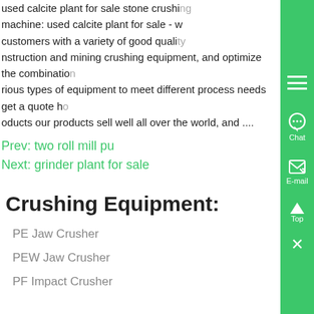used calcite plant for sale stone crushing machine: used calcite plant for sale - customers with a variety of good quality construction and mining crushing equipment, and optimize the combination of various types of equipment to meet different process needs get a quote how our products our products sell well all over the world, and ....
Prev: two roll mill pu
Next: grinder plant for sale
Crushing Equipment:
PE Jaw Crusher
PEW Jaw Crusher
PF Impact Crusher